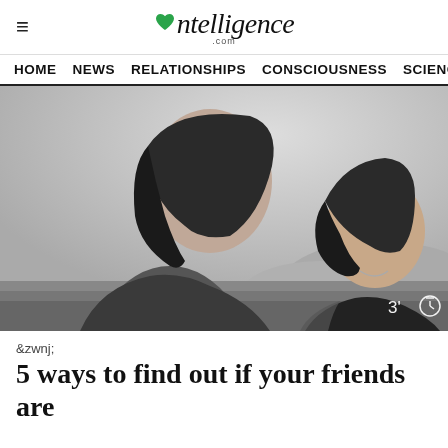Mntelligence.com
HOME   NEWS   RELATIONSHIPS   CONSCIOUSNESS   SCIENC
[Figure (photo): Black and white photo of two young Asian women outdoors with mountains in background; reading time badge '3' with clock icon in bottom right corner]
&zwnj;
5 ways to find out if your friends are